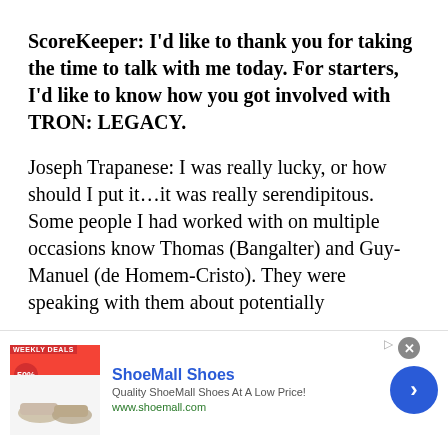ScoreKeeper: I'd like to thank you for taking the time to talk with me today. For starters, I'd like to know how you got involved with TRON: LEGACY.
Joseph Trapanese: I was really lucky, or how should I put it…it was really serendipitous. Some people I had worked with on multiple occasions know Thomas (Bangalter) and Guy-Manuel (de Homem-Cristo). They were speaking with them about potentially scoring Legacy and the challenges that they faced on…
[Figure (screenshot): Advertisement banner for ShoeMall Shoes with logo, weekly deals badge, shoe images, ad title 'ShoeMall Shoes', subtitle 'Quality ShoeMall Shoes At A Low Price!', URL 'www.shoemall.com', close button, and navigation arrow.]